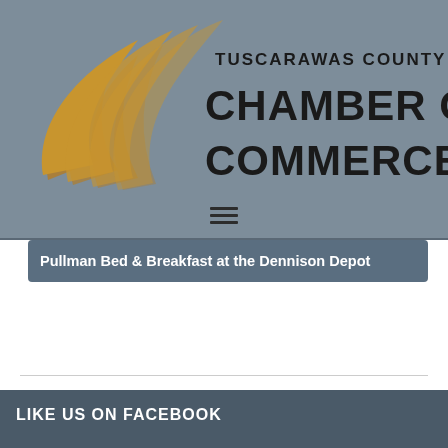[Figure (logo): Tuscarawas County Chamber of Commerce logo with golden swoosh graphic on left and bold text on right reading 'TUSCARAWAS COUNTY CHAMBER OF COMMERCE' on a gray-blue background]
[Figure (other): Hamburger menu icon (three horizontal lines) centered on gray-blue background]
Pullman Bed & Breakfast at the Dennison Depot
LIKE US ON FACEBOOK